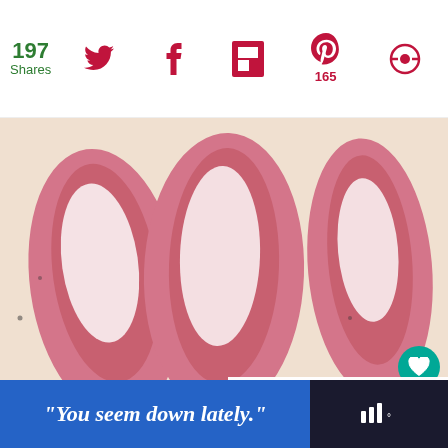197 Shares
[Figure (photo): Raw chicken breasts topped with white cream sauce on a cutting board, three pieces visible]
WHAT'S NEXT → Bleu Cheese Crackers...
"You seem down lately."